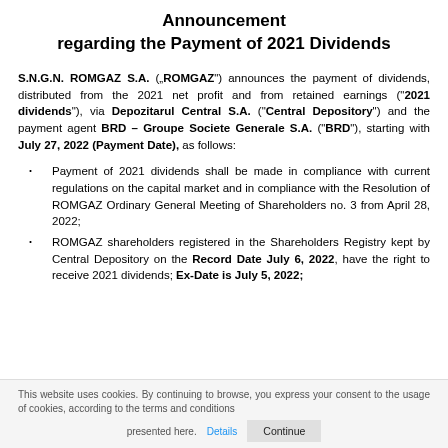Announcement regarding the Payment of 2021 Dividends
S.N.G.N. ROMGAZ S.A. („ROMAGZ”) announces the payment of dividends, distributed from the 2021 net profit and from retained earnings (“2021 dividends”), via Depozitarul Central S.A. (“Central Depository”) and the payment agent BRD – Groupe Societe Generale S.A. (“BRD”), starting with July 27, 2022 (Payment Date), as follows:
Payment of 2021 dividends shall be made in compliance with current regulations on the capital market and in compliance with the Resolution of ROMGAZ Ordinary General Meeting of Shareholders no. 3 from April 28, 2022;
ROMGAZ shareholders registered in the Shareholders Registry kept by Central Depository on the Record Date July 6, 2022, have the right to receive 2021 dividends; Ex-Date is July 5, 2022;
This website uses cookies. By continuing to browse, you express your consent to the usage of cookies, according to the terms and conditions presented here. Details Continue